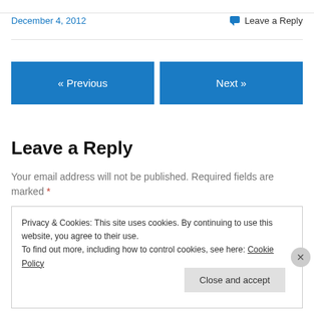December 4, 2012
Leave a Reply
« Previous
Next »
Leave a Reply
Your email address will not be published. Required fields are marked *
Privacy & Cookies: This site uses cookies. By continuing to use this website, you agree to their use. To find out more, including how to control cookies, see here: Cookie Policy
Close and accept